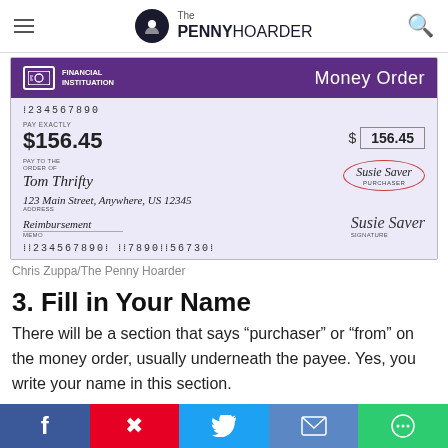The Penny Hoarder
[Figure (other): A filled-out sample money order showing: account number 1234567890, PAY EXACTLY $156.45, amount box 156.45, PAY TO THE ORDER OF Tom Thrifty, address 123 Main Street, Anywhere, US 12345, MEMO: Reimbursement, Purchaser circled: Susie Saver, SIGNATURE: Susie Saver, routing numbers at bottom. Purple banner reads FINANCIAL INSTITUTION and Money Order.]
Chris Zuppa/The Penny Hoarder
3. Fill in Your Name
There will be a section that says “purchaser” or “from” on the money order, usually underneath the payee. Yes, you write your name in this section.
Facebook | Pinterest | Twitter | Email | Chat